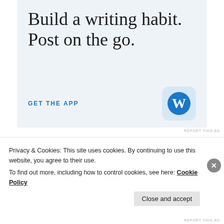[Figure (illustration): WordPress app advertisement with light blue background. Large serif text reads 'Build a writing habit. Post on the go.' with a 'GET THE APP' call-to-action link and the WordPress circular W logo icon on the right.]
REPORT THIS AD
3 THINGS ABOUT ME
1. Outside the WordPress world, I am not a
Privacy & Cookies: This site uses cookies. By continuing to use this website, you agree to their use.
To find out more, including how to control cookies, see here: Cookie Policy
REPORT THIS AD